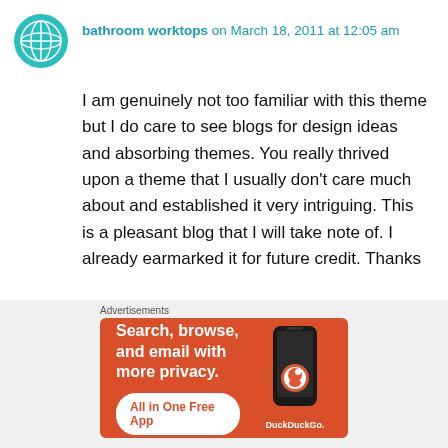[Figure (logo): Teal circular avatar icon with globe/grid pattern]
bathroom worktops on March 18, 2011 at 12:05 am
I am genuinely not too familiar with this theme but I do care to see blogs for design ideas and absorbing themes. You really thrived upon a theme that I usually don't care much about and established it very intriguing. This is a pleasant blog that I will take note of. I already earmarked it for future credit. Thanks
★ Like
Log in to Reply
Advertisements
[Figure (screenshot): DuckDuckGo advertisement banner with orange background. Text: Search, browse, and email with more privacy. All in One Free App. Shows DuckDuckGo logo and phone image.]